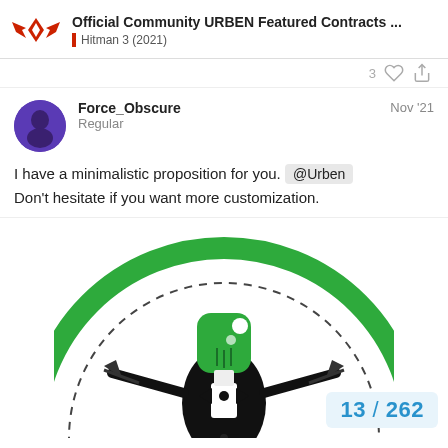Official Community URBEN Featured Contracts ... | Hitman 3 (2021)
3
Force_Obscure
Regular
Nov '21
I have a minimalistic proposition for you. @Urben
Don't hesitate if you want more customization.
[Figure (illustration): A minimalistic logo featuring a figure with a green rounded-rectangle head wearing a tuxedo with a black bowtie, arms extended outward with arrows through them, set inside a large green circle with a dashed inner circle — a parody hitman/target icon.]
13 / 262